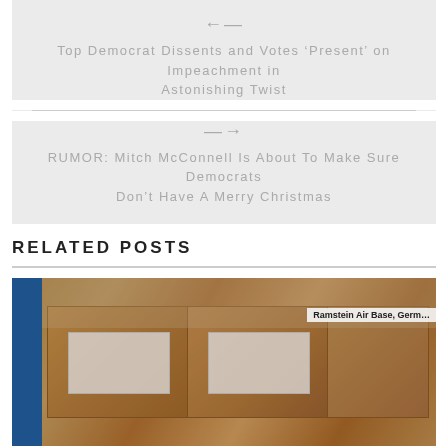Top Democrat Dissents and Votes ‘Present’ on Impeachment in Astonishing Twist
RUMOR: Mitch McConnell Is About To Make Sure Democrats Don’t Have A Merry Christmas
RELATED POSTS
[Figure (photo): Photo of wrapped boxes/packages on a pallet at Ramstein Air Base, Germany]